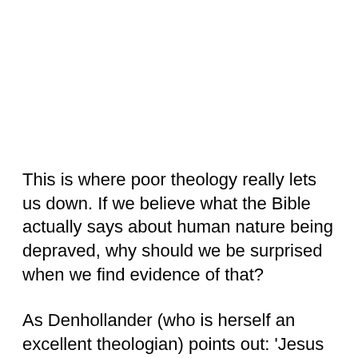This is where poor theology really lets us down. If we believe what the Bible actually says about human nature being depraved, why should we be surprised when we find evidence of that?
As Denhollander (who is herself an excellent theologian) points out: 'Jesus Christ does not need your protection, he needs your obedience.' It's an obedience that requires us to seek justice, speak the